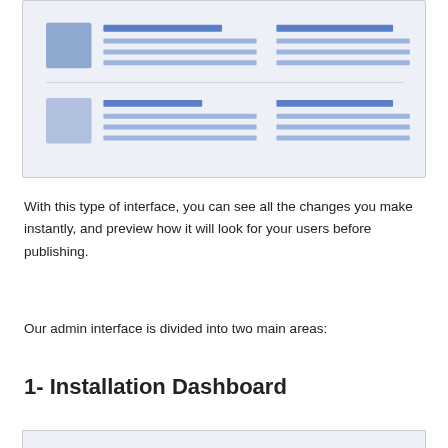[Figure (screenshot): UI mockup showing a list interface with two rows, each containing a square thumbnail on the left and horizontal lines representing text content, plus additional text lines on the right side]
With this type of interface, you can see all the changes you make instantly, and preview how it will look for your users before publishing.
Our admin interface is divided into two main areas:
1- Installation Dashboard